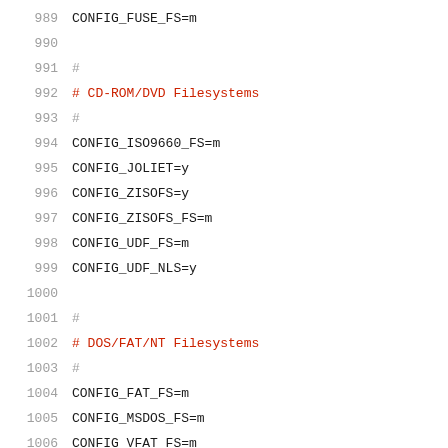989  CONFIG_FUSE_FS=m
990
991  #
992  # CD-ROM/DVD Filesystems
993  #
994  CONFIG_ISO9660_FS=m
995  CONFIG_JOLIET=y
996  CONFIG_ZISOFS=y
997  CONFIG_ZISOFS_FS=m
998  CONFIG_UDF_FS=m
999  CONFIG_UDF_NLS=y
1000
1001  #
1002  # DOS/FAT/NT Filesystems
1003  #
1004  CONFIG_FAT_FS=m
1005  CONFIG_MSDOS_FS=m
1006  CONFIG_VFAT_FS=m
1007  CONFIG_FAT_DEFAULT_CODEPAGE=437
1008  CONFIG_FAT_DEFAULT_IOCHARSET="iso8859-1"
1009  # CONFIG_NTFS_FS is not set